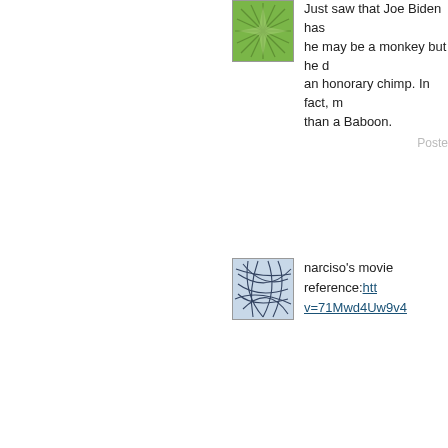[Figure (illustration): Green starburst/sunburst avatar icon with geometric pattern]
Just saw that Joe Biden has he may be a monkey but he d an honorary chimp. In fact, m than a Baboon.
Posted
[Figure (illustration): Blue/grey abstract line art avatar with overlapping curved lines]
narciso's movie reference:htt v=71Mwd4Uw9v4
[Figure (illustration): Teal/green geometric snowflake/mandala avatar icon]
I was '81
rse, I was '82 and a helluva lo I was a Fighting Sheep, wher
[Figure (illustration): Purple/blue geometric star pattern avatar icon]
Zogby speculates that Romne Ryan helped turn more young youthfulness," said Zogby of voters are becoming libertaria and worried that they are goi fiscal bill.